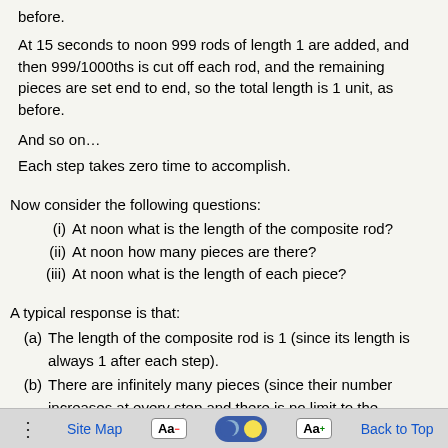before.
At 15 seconds to noon 999 rods of length 1 are added, and then 999/1000ths is cut off each rod, and the remaining pieces are set end to end, so the total length is 1 unit, as before.
And so on…
Each step takes zero time to accomplish.
Now consider the following questions:
(i)   At noon what is the length of the composite rod?
(ii)  At noon how many pieces are there?
(iii) At noon what is the length of each piece?
A typical response is that:
(a) The length of the composite rod is 1 (since its length is always 1 after each step).
(b) There are infinitely many pieces (since their number increases at every step and there is no limit to the
Site Map  Aa-  [toggle]  Aa+  Back to Top